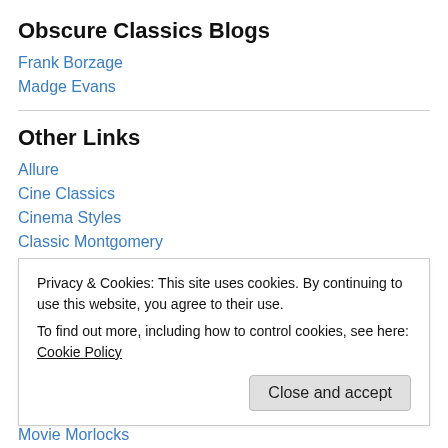Obscure Classics Blogs
Frank Borzage
Madge Evans
Other Links
Allure
Cine Classics
Cinema Styles
Classic Montgomery
Classic Montgomery at Blogspot
Privacy & Cookies: This site uses cookies. By continuing to use this website, you agree to their use.
To find out more, including how to control cookies, see here: Cookie Policy
Movie Morlocks